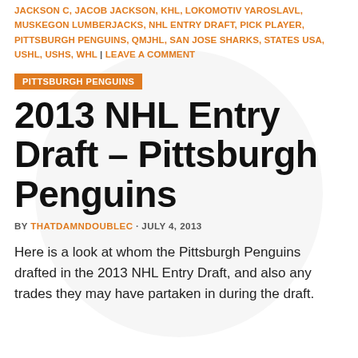JACKSON C, JACOB JACKSON, KHL, LOKOMOTIV YAROSLAVL, MUSKEGON LUMBERJACKS, NHL ENTRY DRAFT, PICK PLAYER, PITTSBURGH PENGUINS, QMJHL, SAN JOSE SHARKS, STATES USA, USHL, USHS, WHL | LEAVE A COMMENT
PITTSBURGH PENGUINS
2013 NHL Entry Draft – Pittsburgh Penguins
BY THATDAMNDOUBLEC · JULY 4, 2013
Here is a look at whom the Pittsburgh Penguins drafted in the 2013 NHL Entry Draft, and also any trades they may have partaken in during the draft.